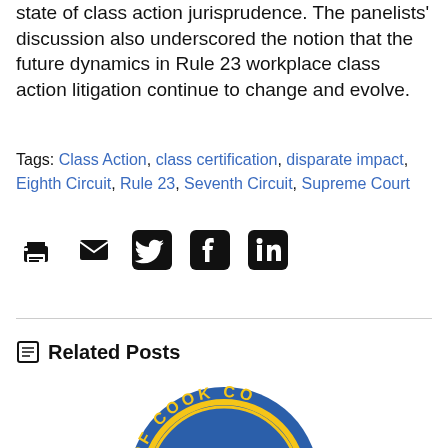state of class action jurisprudence. The panelists' discussion also underscored the notion that the future dynamics in Rule 23 workplace class action litigation continue to change and evolve.
Tags: Class Action, class certification, disparate impact, Eighth Circuit, Rule 23, Seventh Circuit, Supreme Court
[Figure (other): Share icons row: print, email, Twitter, Facebook, LinkedIn]
Related Posts
[Figure (logo): Cook County seal logo — blue circle with yellow arc text reading OF COOK CO]